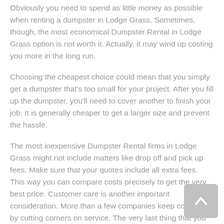Obviously you need to spend as little money as possible when renting a dumpster in Lodge Grass. Sometimes, though, the most economical Dumpster Rental in Lodge Grass option is not worth it. Actually, it may wind up costing you more in the long run.
Choosing the cheapest choice could mean that you simply get a dumpster that's too small for your project. After you fill up the dumpster, you'll need to cover another to finish your job. It is generally cheaper to get a larger size and prevent the hassle.
The most inexpensive Dumpster Rental firms in Lodge Grass might not include matters like drop off and pick up fees. Make sure that your quotes include all extra fees. This way you can compare costs precisely to get the very best price. Customer care is another important consideration. More than a few companies keep costs low by cutting corners on service. The very last thing that you want would be to waste time waiting for a truck to arrive with your dumpster.